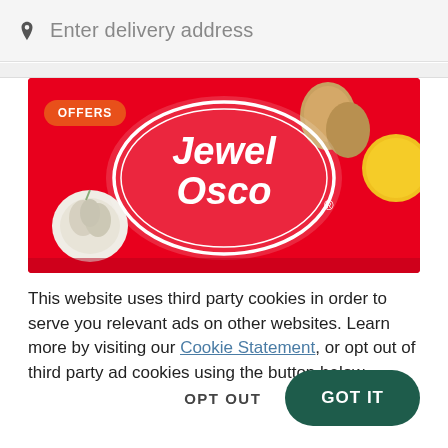Enter delivery address
[Figure (logo): Jewel Osco banner on red background with OFFERS tag, garlic, citrus and eggs visible, white oval logo with 'Jewel Osco' text in center]
This website uses third party cookies in order to serve you relevant ads on other websites. Learn more by visiting our Cookie Statement, or opt out of third party ad cookies using the button below.
OPT OUT
GOT IT